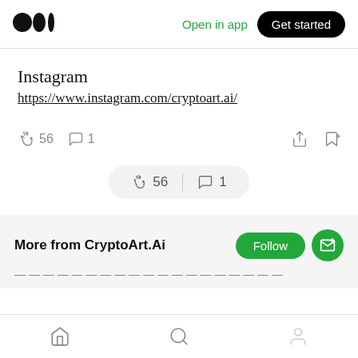Medium logo | Open in app | Get started
Instagram
https://www.instagram.com/cryptoart.ai/
56 claps  1 comment  (share) (bookmark+)
56 | 1
More from CryptoArt.Ai
Follow | Subscribe
(truncated text below)
Home | Search | Profile